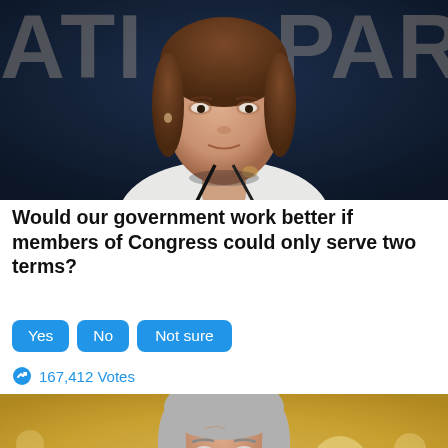[Figure (photo): A woman (Nancy Pelosi) speaking at a podium with microphone against a dark blue background with partial text 'ATI' and 'PAR' visible]
Would our government work better if members of Congress could only serve two terms?
Yes | No | Not sure
167,412 Votes
[Figure (photo): An older man (Joe Biden) against a warm golden/yellow blurred background]